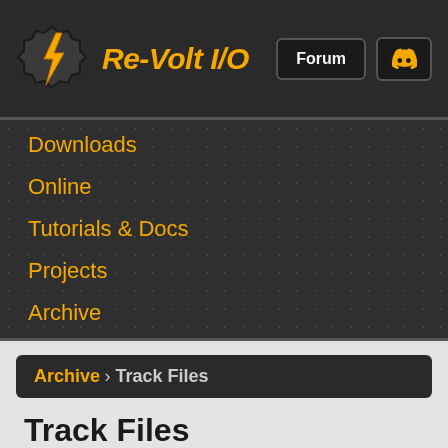Re-Volt I/O — Forum, Discord
Downloads
Online
Tutorials & Docs
Projects
Archive
Archive › Track Files
Track Files
Date: January 11, 2017
Authors: Marv
Categories: The Game, RVGl, Tutorial